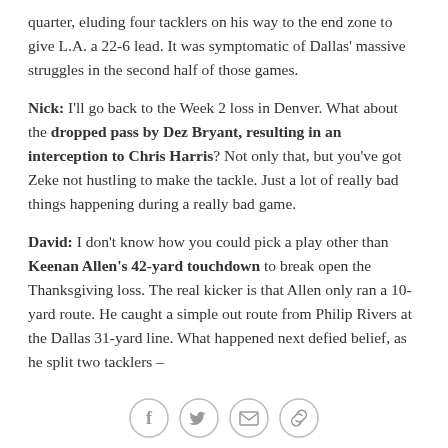quarter, eluding four tacklers on his way to the end zone to give L.A. a 22-6 lead. It was symptomatic of Dallas' massive struggles in the second half of those games.
Nick: I'll go back to the Week 2 loss in Denver. What about the dropped pass by Dez Bryant, resulting in an interception to Chris Harris? Not only that, but you've got Zeke not hustling to make the tackle. Just a lot of really bad things happening during a really bad game.
David: I don't know how you could pick a play other than Keenan Allen's 42-yard touchdown to break open the Thanksgiving loss. The real kicker is that Allen only ran a 10-yard route. He caught a simple out route from Philip Rivers at the Dallas 31-yard line. What happened next defied belief, as he split two tacklers –
[Figure (other): Social sharing icons: Facebook, Twitter, Email, Link]